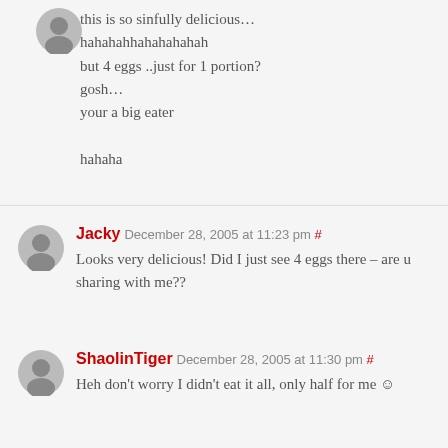this is so sinfully delicious… hahahahhahahahahah but 4 eggs ..just for 1 portion? gosh… your a big eater

hahaha
Jacky December 28, 2005 at 11:23 pm #
Looks very delicious! Did I just see 4 eggs there – are u sharing with me??
ShaolinTiger December 28, 2005 at 11:30 pm #
Heh don't worry I didn't eat it all, only half for me ☺